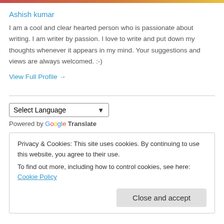[Figure (other): Decorative top bar with gradient colors]
Ashish kumar
I am a cool and clear hearted person who is passionate about writing. I am writer by passion. I love to write and put down my thoughts whenever it appears in my mind. Your suggestions and views are always welcomed. :-)
View Full Profile →
Select Language (dropdown)
Powered by Google Translate
Privacy & Cookies: This site uses cookies. By continuing to use this website, you agree to their use.
To find out more, including how to control cookies, see here: Cookie Policy
Close and accept